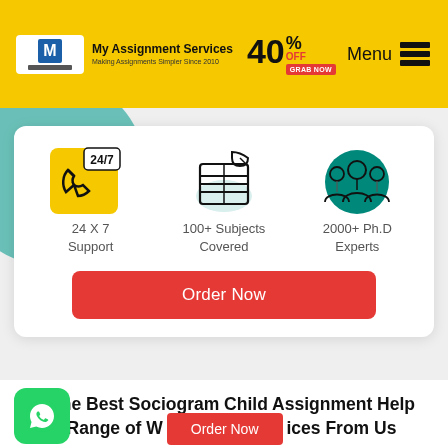My Assignment Services · Making Assignments Simpler Since 2010 · 40% OFF · GRAB NOW · Menu
[Figure (infographic): Three feature icons: 24/7 phone support icon (yellow background), 100+ subjects covered (newspaper/book icon), 2000+ Ph.D Experts (group of people icon with teal background)]
24 X 7 Support
100+ Subjects Covered
2000+ Ph.D Experts
Order Now
Get The Best Sociogram Child Assignment Help and a Range of Writing Services From Us
Order Now